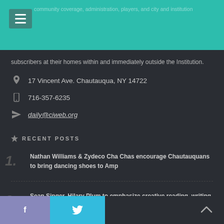community coverage, administration, players, and city and institution
subscribers at their homes within and immediately outside the Institution.
17 Vincent Ave. Chautauqua, NY 14722
716-357-6235
daily@ciweb.org
RECENT POSTS
Nathan Williams & Zydeco Cha Chas encourage Chautauquans to bring dancing shoes to Amp
Sean Singer, Hilary Plum to emphasize creative reading, writing as self-care in workshops
Facebook | Twitter | back to top